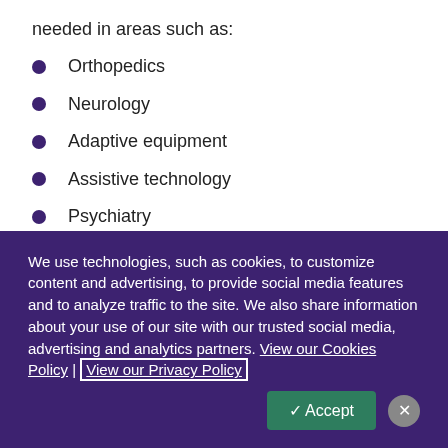needed in areas such as:
Orthopedics
Neurology
Adaptive equipment
Assistive technology
Psychiatry
We use technologies, such as cookies, to customize content and advertising, to provide social media features and to analyze traffic to the site. We also share information about your use of our site with our trusted social media, advertising and analytics partners. View our Cookies Policy | View our Privacy Policy